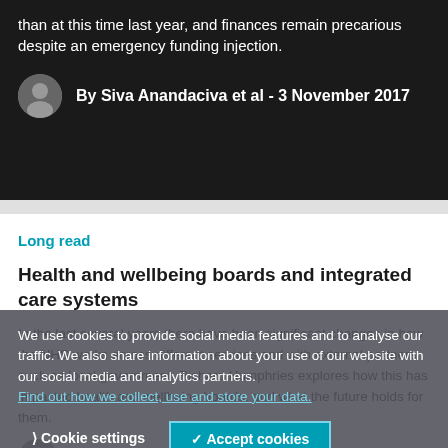than at this time last year, and finances remain precarious despite an emergency funding injection.
By Siva Anandaciva et al - 3 November 2017
Long read
Health and wellbeing boards and integrated care systems
In the last several years there have been significant changes in how the NHS works across different services and with external partners such as local government. Richard Humphries explores how this has impacted health and wellbeing boards, and what the future holds for them.
By Richard Humphries - 13 November 2019
We use cookies to provide social media features and to analyse our traffic. We also share information about your use of our website with our social media and analytics partners. Find out how we collect, use and store your data.